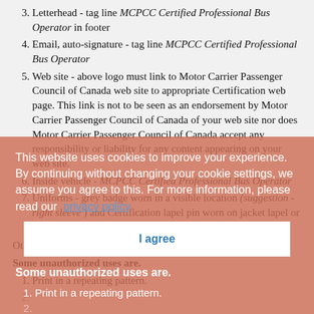3. Letterhead - tag line MCPCC Certified Professional Bus Operator in footer
4. Email, auto-signature - tag line MCPCC Certified Professional Bus Operator
5. Web site - above logo must link to Motor Carrier Passenger Council of Canada web site to appropriate Certification web page. This link is not to be seen as an endorsement by Motor Carrier Passenger Council of Canada of your web site nor does Motor Carrier Passenger Council of Canada accept any responsibility or liability for any content appearing on your web site.
6. Inside vehicle - MCPCC Certified Professional Bus Operator
7. Uniforms - grey badge worn in a visible location (suggestion - right sleeve) and Certification lapel pin worn on jacket lapel or collar of shirt.
Other placements require the prior written approval of MCPCC.
Some unauthorized uses are.
1. Print in a repeating pattern.
This website uses cookies to improve your experience. By continuing without changing your cookie settings, we assume you agree to this. For more information, please read our privacy policy
I agree